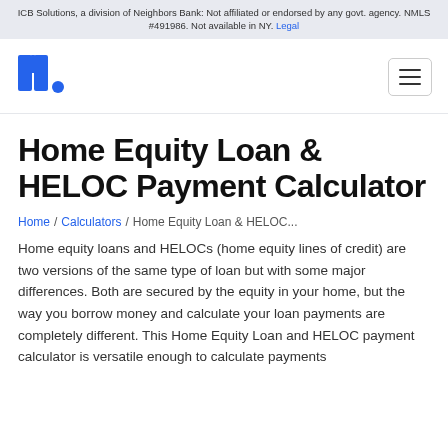ICB Solutions, a division of Neighbors Bank: Not affiliated or endorsed by any govt. agency. NMLS #491986. Not available in NY. Legal
[Figure (logo): Mortgage Research Center logo — blue block letter 'm' followed by a period, styled in blue]
Home Equity Loan & HELOC Payment Calculator
Home / Calculators / Home Equity Loan & HELOC...
Home equity loans and HELOCs (home equity lines of credit) are two versions of the same type of loan but with some major differences. Both are secured by the equity in your home, but the way you borrow money and calculate your loan payments are completely different. This Home Equity Loan and HELOC payment calculator is versatile enough to calculate payments